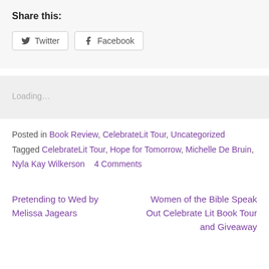Share this:
Twitter  Facebook
Loading…
Posted in Book Review, CelebrateLit Tour, Uncategorized   Tagged CelebrateLit Tour, Hope for Tomorrow, Michelle De Bruin, Nyla Kay Wilkerson   4 Comments
Pretending to Wed by Melissa Jagears
Women of the Bible Speak Out Celebrate Lit Book Tour and Giveaway